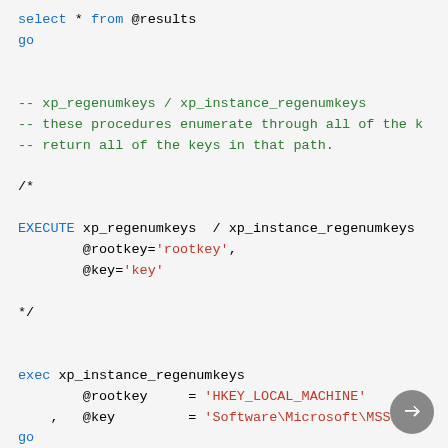select * from @results
go

-- xp_regenumkeys / xp_instance_regenumkeys
-- these procedures enumerate through all of the k
-- return all of the keys in that path.

/*

EXECUTE xp_regenumkeys  / xp_instance_regenumkeys
        @rootkey='rootkey',
        @key='key'

*/

exec xp_instance_regenumkeys
        @rootkey     = 'HKEY_LOCAL_MACHINE'
    ,   @key         = 'Software\Microsoft\MSSQLSER
go

exec xp_instance_regenumkeys